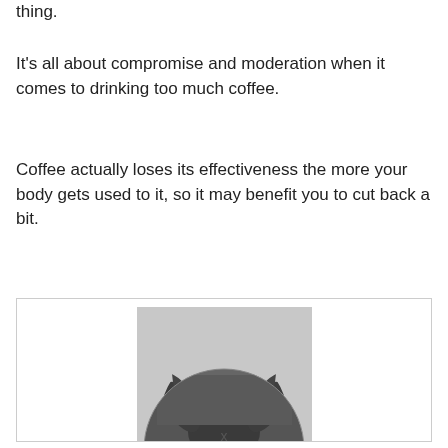thing.
It's all about compromise and moderation when it comes to drinking too much coffee.
Coffee actually loses its effectiveness the more your body gets used to it, so it may benefit you to cut back a bit.
[Figure (photo): Black and white photo of a muscular bodybuilder posing with arms raised, shown from behind in a semicircular crop, in front of what appears to be a gym setting.]